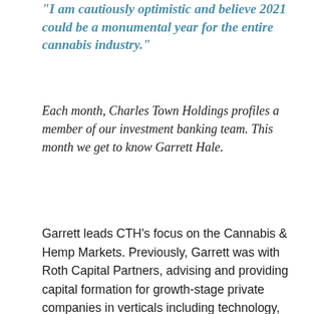“I am cautiously optimistic and believe 2021 could be a monumental year for the entire cannabis industry.”
Each month, Charles Town Holdings profiles a member of our investment banking team. This month we get to know Garrett Hale.
Garrett leads CTH’s focus on the Cannabis & Hemp Markets. Previously, Garrett was with Roth Capital Partners, advising and providing  capital formation for growth-stage private companies in verticals including technology, software, healthcare, med-tech, cannabis / hemp, and consumer sectors. Before that he